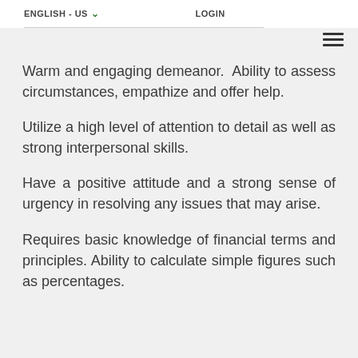ENGLISH - US ▾   LOGIN
Warm and engaging demeanor.  Ability to assess circumstances, empathize and offer help.
Utilize a high level of attention to detail as well as strong interpersonal skills.
Have a positive attitude and a strong sense of urgency in resolving any issues that may arise.
Requires basic knowledge of financial terms and principles. Ability to calculate simple figures such as percentages.